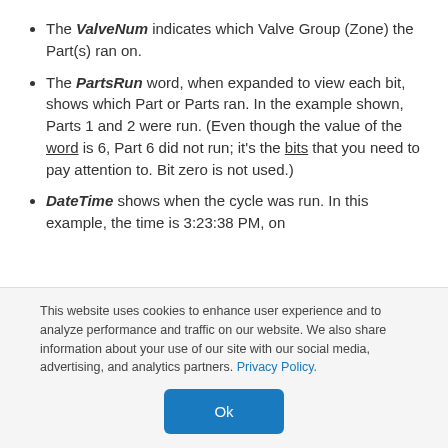The ValveNum indicates which Valve Group (Zone) the Part(s) ran on.
The PartsRun word, when expanded to view each bit, shows which Part or Parts ran. In the example shown, Parts 1 and 2 were run. (Even though the value of the word is 6, Part 6 did not run; it's the bits that you need to pay attention to. Bit zero is not used.)
DateTime shows when the cycle was run. In this example, the time is 3:23:38 PM, on ...
This website uses cookies to enhance user experience and to analyze performance and traffic on our website. We also share information about your use of our site with our social media, advertising, and analytics partners. Privacy Policy.